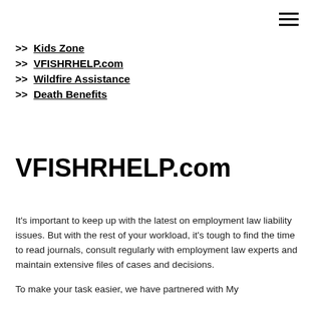>> Kids Zone
>> VFISHRHELP.com
>> Wildfire Assistance
>> Death Benefits
VFISHRHELP.com
It's important to keep up with the latest on employment law liability issues. But with the rest of your workload, it's tough to find the time to read journals, consult regularly with employment law experts and maintain extensive files of cases and decisions.
To make your task easier, we have partnered with My